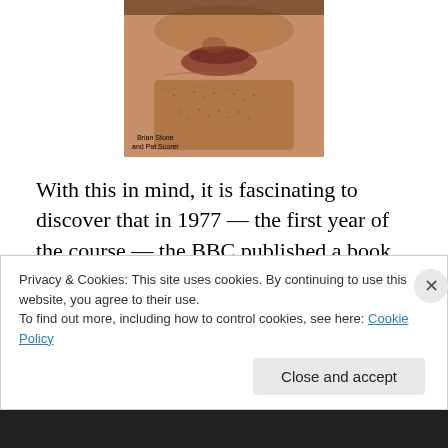[Figure (photo): Close-up photo of a man's face (lower portion showing mouth and chin area with stubble), with text overlay reading 'Brian Stone and Pat Scorer']
With this in mind, it is fascinating to discover that in 1977 — the first year of the course — the BBC published a book in association with these televised productions, titled Sophocles to Fugard, written by Brian Stone (the chairman of the course team; founder member of The Open University where he was Reader in English Literature) and
Privacy & Cookies: This site uses cookies. By continuing to use this website, you agree to their use.
To find out more, including how to control cookies, see here: Cookie Policy
Close and accept